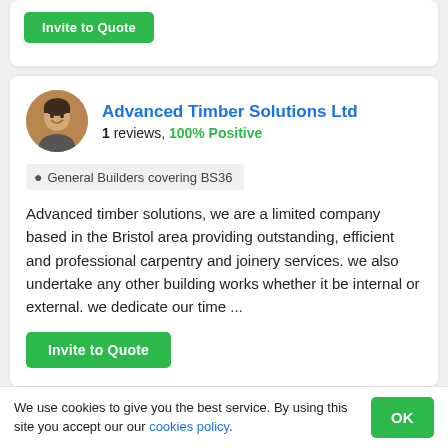[Figure (other): Green 'Invite to Quote' button partially visible at top of page]
Advanced Timber Solutions Ltd
1 reviews, 100% Positive
General Builders covering BS36
Advanced timber solutions, we are a limited company based in the Bristol area providing outstanding, efficient and professional carpentry and joinery services. we also undertake any other building works whether it be internal or external. we dedicate our time ...
Invite to Quote
We use cookies to give you the best service. By using this site you accept our our cookies policy.